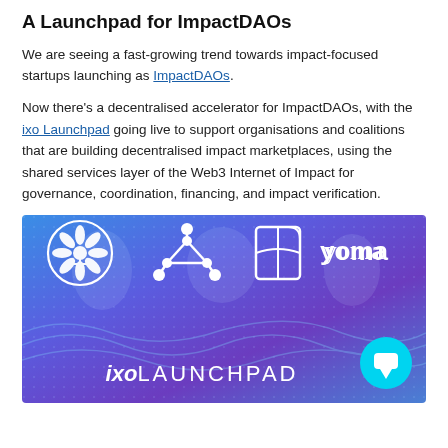A Launchpad for ImpactDAOs
We are seeing a fast-growing trend towards impact-focused startups launching as ImpactDAOs.
Now there's a decentralised accelerator for ImpactDAOs, with the ixo Launchpad going live to support organisations and coalitions that are building decentralised impact marketplaces, using the shared services layer of the Web3 Internet of Impact for governance, coordination, financing, and impact verification.
[Figure (illustration): Banner image for ixo Launchpad showing logos of partner organizations (flower/plant logo, connected nodes logo, book/document logo, Yoma logo) on a blue gradient background with the text 'ixoLAUNCHPAD' at the bottom and a chat bubble icon in the bottom right.]